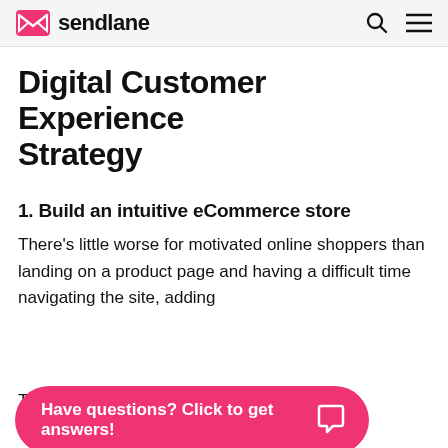sendlane
Digital Customer Experience Strategy
1. Build an intuitive eCommerce store
There’s little worse for motivated online shoppers than landing on a product page and having a difficult time navigating the site, adding
Have questions? Click to get answers!
The first step in an excellent digital customer experience is to focus on UX. Here are some